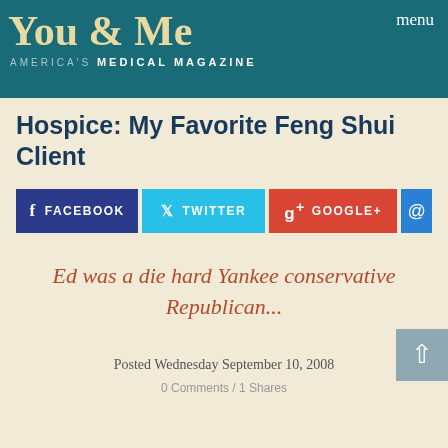You & Me
America's Medical Magazine
menu
Hospice: My Favorite Feng Shui Client
[Figure (infographic): Social sharing buttons: Facebook, Twitter, Google+, and email icon]
Ed was a die hard Yankee conservative Republican...
Posted Wednesday September 10, 2008
0 Comments / 1 Shares